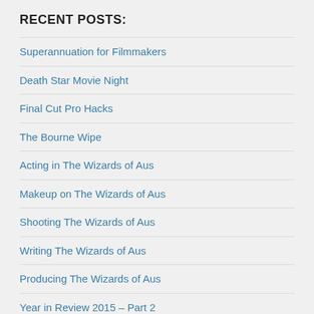RECENT POSTS:
Superannuation for Filmmakers
Death Star Movie Night
Final Cut Pro Hacks
The Bourne Wipe
Acting in The Wizards of Aus
Makeup on The Wizards of Aus
Shooting The Wizards of Aus
Writing The Wizards of Aus
Producing The Wizards of Aus
Year in Review 2015 – Part 2